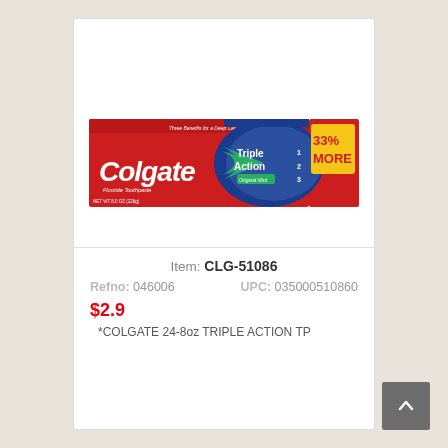[Figure (photo): Colgate Triple Action toothpaste box, red with white Colgate logo, Triple Action branding in blue/white, 33% MORE badge in yellow, Original Mint flavor]
Item: CLG-51086
Refno: 046006   UPC: 035000510860
$2.9
*COLGATE 24-8oz TRIPLE ACTION TP